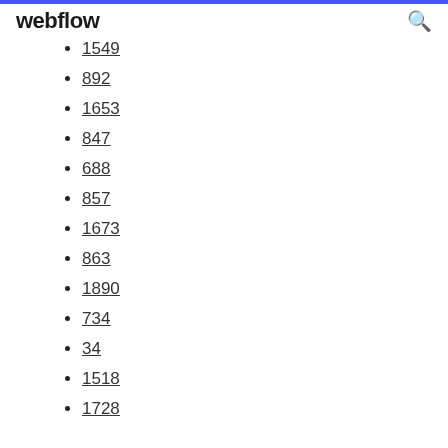webflow
1549
892
1653
847
688
857
1673
863
1890
734
34
1518
1728